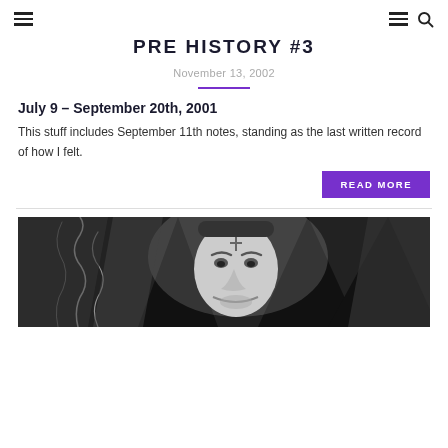☰ PRE HISTORY #3 ☰ 🔍
PRE HISTORY #3
November 13, 2002
July 9 – September 20th, 2001
This stuff includes September 11th notes, standing as the last written record of how I felt.
READ MORE
[Figure (illustration): Black and white comic illustration of a man's face with dramatic shading, smoke/wavy lines on the left, and triangular shapes in the background]